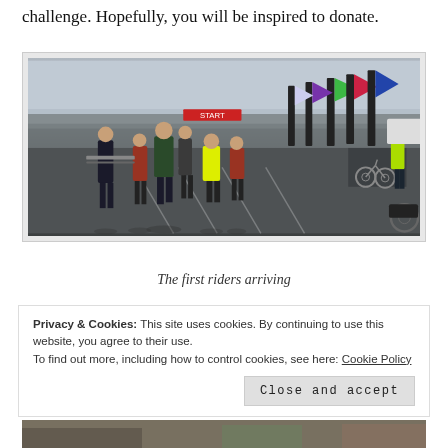challenge. Hopefully, you will be inspired to donate.
[Figure (photo): Outdoor scene of cyclists and participants in a parking lot, with colourful branded flags/banners in the background. Several people are walking toward the camera. Overcast sky. Event starting area.]
The first riders arriving
Privacy & Cookies: This site uses cookies. By continuing to use this website, you agree to their use.
To find out more, including how to control cookies, see here: Cookie Policy
Close and accept
[Figure (photo): Partial photo visible at the bottom of the page, cut off.]